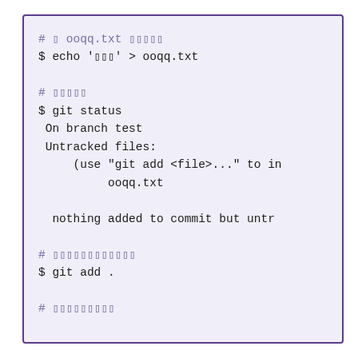# ▯ ooqq.txt ▯▯▯▯▯
$ echo '▯▯▯' > ooqq.txt

# ▯▯▯▯▯
$ git status
 On branch test
 Untracked files:
     (use "git add <file>..." to in
          ooqq.txt

  nothing added to commit but untr

# ▯▯▯▯▯▯▯▯▯▯▯▯
$ git add .

# ▯▯▯▯▯▯▯▯▯